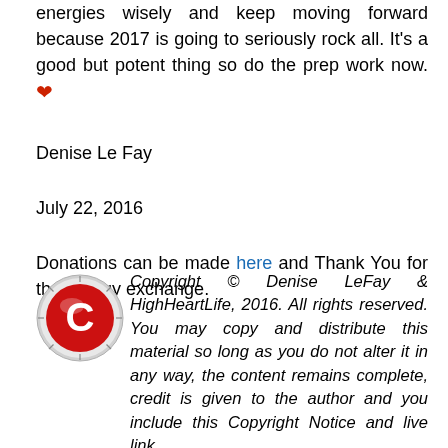energies wisely and keep moving forward because 2017 is going to seriously rock all. It's a good but potent thing so do the prep work now. ❤
Denise Le Fay
July 22, 2016
Donations can be made here and Thank You for the energy exchange.
[Figure (logo): Red letter C copyright logo icon in circular frame]
Copyright © Denise LeFay & HighHeartLife, 2016. All rights reserved. You may copy and distribute this material so long as you do not alter it in any way, the content remains complete, credit is given to the author and you include this Copyright Notice and live link.